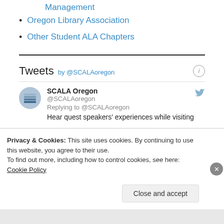Management
Oregon Library Association
Other Student ALA Chapters
[Figure (screenshot): Twitter/Tweets widget showing tweets by @SCALAoregon with SCALA Oregon account replying to @SCALAoregon about hearing guest speakers' experiences while visiting]
Privacy & Cookies: This site uses cookies. By continuing to use this website, you agree to their use.
To find out more, including how to control cookies, see here: Cookie Policy
Close and accept